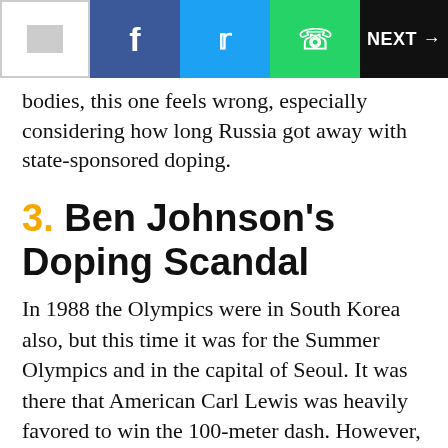NEXT →
bodies, this one feels wrong, especially considering how long Russia got away with state-sponsored doping.
3. Ben Johnson's Doping Scandal
In 1988 the Olympics were in South Korea also, but this time it was for the Summer Olympics and in the capital of Seoul. It was there that American Carl Lewis was heavily favored to win the 100-meter dash. However, Canadian sprinter Ben Johnson shocked not only Lewis but the world while running the 100-meter dash in 9.79 seconds, which was a world record that easily beat Lewis' time. Because